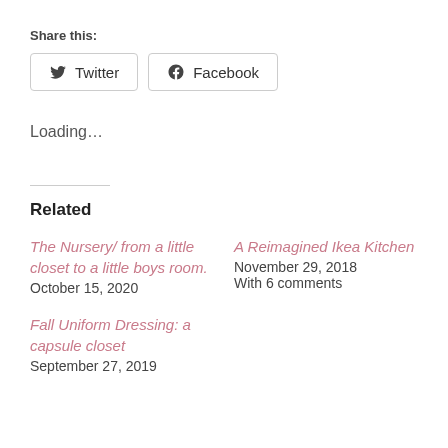Share this:
Twitter  Facebook
Loading…
Related
The Nursery/ from a little closet to a little boys room.
October 15, 2020
A Reimagined Ikea Kitchen
November 29, 2018
With 6 comments
Fall Uniform Dressing: a capsule closet
September 27, 2019